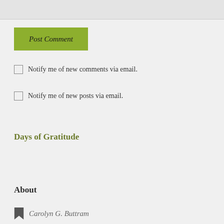[Figure (other): Top gray input/text area box]
[Figure (other): Green Post Comment button]
☐ Notify me of new comments via email.
☐ Notify me of new posts via email.
Days of Gratitude
About
Carolyn G. Buttram